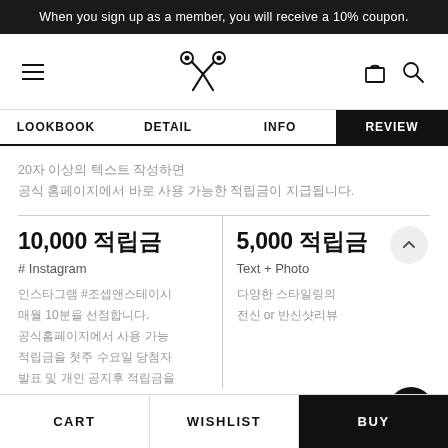When you sign up as a member, you will receive a 10% coupon.
[Figure (screenshot): Navigation bar with hamburger menu, scissors logo, shopping bag and search icons]
LOOKBOOK | DETAIL | INFO | REVIEW (tab navigation, REVIEW active)
20자 이상의 텍스트 작성하면 공식 홈페이지에서 바로 사용 가능한 적립금이 지급됩니다.
10,000 적립금
# Instagram
인스타그램 #조셉앤스테이시 매월 10분을 선점합니다. 공식홈페이지에서 사용 가능 적립금을 첫주 수요일 당첨자 발표 및 개인 공지후 적립금을
5,000 적립금
Text + Photo
다양한 스타일링의 전신 or 반신샷리뷰
CART | WISHLIST | BUY